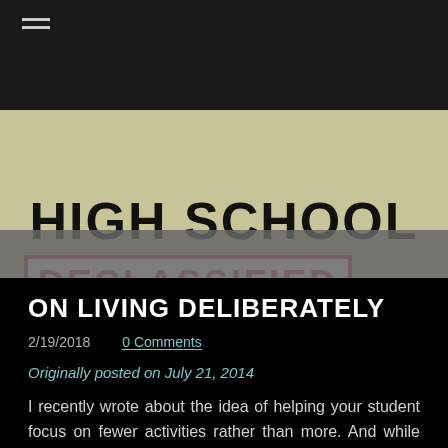[Figure (photo): High School Declassified book or sign with bold black text 'HIGH SCHOOL' and pink/red bordered text 'DECLASSIFIED' on a cream/beige background]
ON LIVING DELIBERATELY
2/19/2018    0 Comments
Originally posted on July 21, 2014
I recently wrote about the idea of helping your student focus on fewer activities rather than more. And while keeping teens focused on doing a few things well remains good advice, I